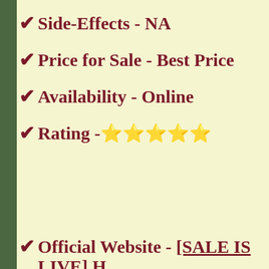✔ Side-Effects - NA
✔ Price for Sale - Best Price
✔ Availability - Online
✔ Rating - ⭐⭐⭐⭐⭐
✔ Official Website - [SALE IS LIVE] H...